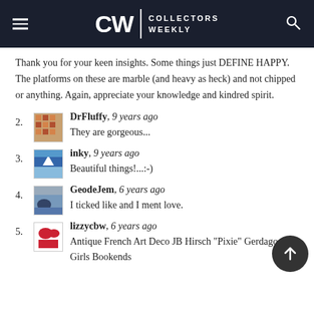CW | COLLECTORS WEEKLY
Thank you for your keen insights. Some things just DEFINE HAPPY. The platforms on these are marble (and heavy as heck) and not chipped or anything. Again, appreciate your knowledge and kindred spirit.
2. DrFluffy, 9 years ago
They are gorgeous...
3. inky, 9 years ago
Beautiful things!...:-)
4. GeodeJem, 6 years ago
I ticked like and I ment love.
5. lizzycbw, 6 years ago
Antique French Art Deco JB Hirsch "Pixie" Gerdago Girls Bookends